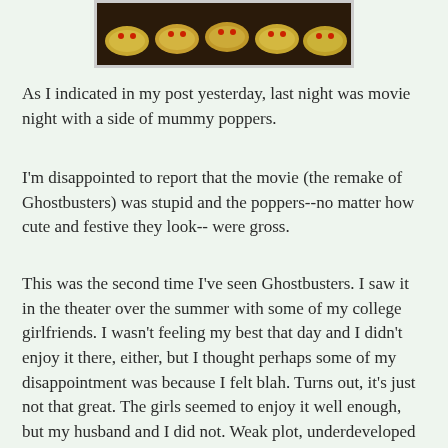[Figure (photo): A close-up photo of mummy poppers—small crescent dough-wrapped appetizers with red pepper eyes, arranged on a dark background.]
As I indicated in my post yesterday, last night was movie night with a side of mummy poppers.
I'm disappointed to report that the movie (the remake of Ghostbusters) was stupid and the poppers--no matter how cute and festive they look-- were gross.
This was the second time I've seen Ghostbusters. I saw it in the theater over the summer with some of my college girlfriends. I wasn't feeling my best that day and I didn't enjoy it there, either, but I thought perhaps some of my disappointment was because I felt blah. Turns out, it's just not that great. The girls seemed to enjoy it well enough, but my husband and I did not. Weak plot, underdeveloped characters, eh acting, questionable casting...it simply didn't deliver. Especially when it could have been so much better. So boo to poorly-done remakes.
But a bigger boo to disappointing and slightly labor-intensive appetizers, like the mummy poppers.